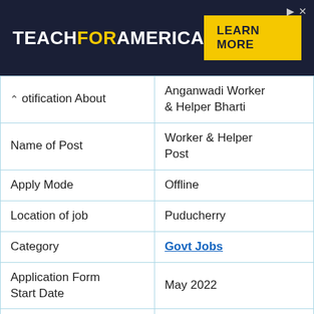[Figure (other): Teach For America advertisement banner with dark navy background, white and yellow logo text, and yellow 'LEARN MORE' button]
| Notification About | Anganwadi Worker & Helper Bharti |
| Name of Post | Worker & Helper Post |
| Apply Mode | Offline |
| Location of job | Puducherry |
| Category | Govt Jobs |
| Application Form Start Date | May 2022 |
| Application Form of Last Date | June 2022 |